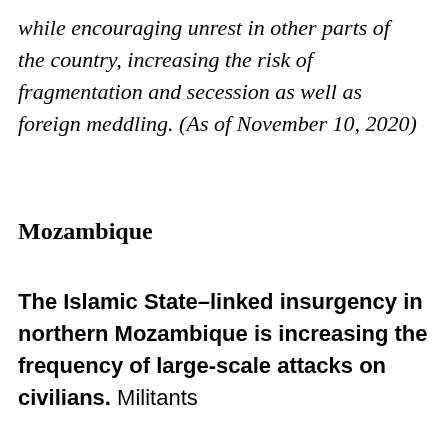while encouraging unrest in other parts of the country, increasing the risk of fragmentation and secession as well as foreign meddling. (As of November 10, 2020)
Mozambique
The Islamic State–linked insurgency in northern Mozambique is increasing the frequency of large-scale attacks on civilians. Militants